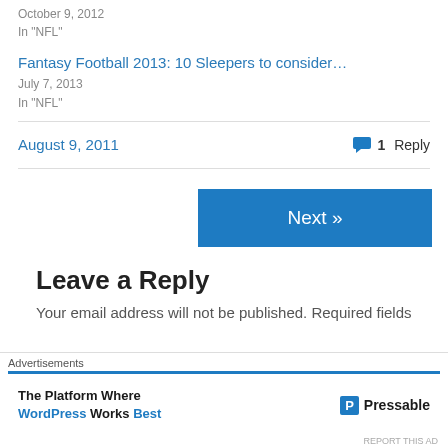October 9, 2012
In "NFL"
Fantasy Football 2013: 10 Sleepers to consider…
July 7, 2013
In "NFL"
August 9, 2011
1 Reply
Next »
Leave a Reply
Your email address will not be published. Required fields
Advertisements
The Platform Where WordPress Works Best
Pressable